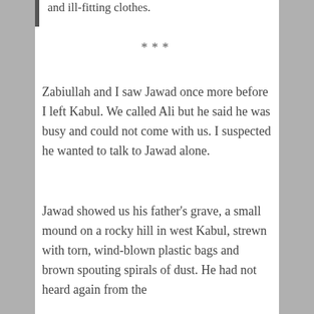and ill-fitting clothes.
***
Zabiullah and I saw Jawad once more before I left Kabul. We called Ali but he said he was busy and could not come with us. I suspected he wanted to talk to Jawad alone.
Jawad showed us his father's grave, a small mound on a rocky hill in west Kabul, strewn with torn, wind-blown plastic bags and brown spouting spirals of dust. He had not heard again from the